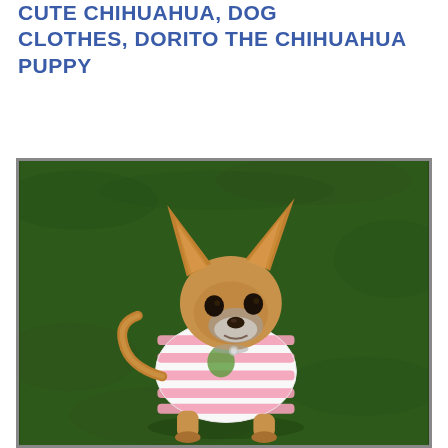CUTE CHIHUAHUA, DOG CLOTHES, DORITO THE CHIHUAHUA PUPPY
[Figure (photo): A small Chihuahua dog wearing a pink and white striped shirt/outfit, sitting on green grass and looking up at the camera. The photo has a dark border.]